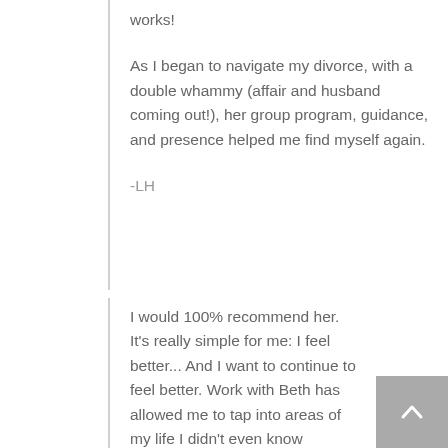works!
As I began to navigate my divorce, with a double whammy (affair and husband coming out!), her group program, guidance, and presence helped me find myself again.
-LH
I would 100% recommend her. It's really simple for me: I feel better... And I want to continue to feel better. Work with Beth has allowed me to tap into areas of my life I didn't even know existed, and bringing those to light is allowing me to grow every day.